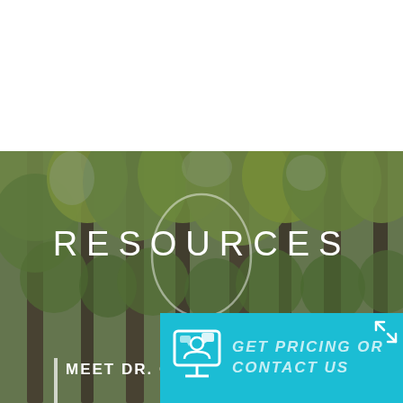[Figure (photo): Forest background with tall trees and green foliage, overlaid with semi-transparent dark tint. A decorative oval outline is centered behind the RESOURCES heading.]
RESOURCES
MEET DR. CARP
FINANCING
[Figure (infographic): Cyan/teal CTA banner in bottom-right with a presentation/chat icon and italic text reading GET PRICING OR CONTACT US, plus an expand icon in the top-right corner of the banner.]